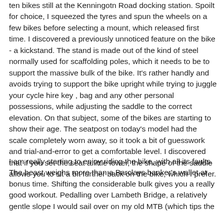ten bikes still at the Kenningotn Road docking station. Spoilt for choice, I squeezed the tyres and spun the wheels on a few bikes before selecting a mount, which released first time. I discovered a previously unnoticed feature on the bike - a kickstand. The stand is made out of the kind of steel normally used for scaffolding poles, which it needs to be to support the massive bulk of the bike. It's rather handly and avoids trying to support the bike upright while trying to juggle your cycle hire key , bag and any other personal possessions, while adjusting the saddle to the correct elevation. On that subject, some of the bikes are starting to show their age. The seatpost on today's model had the scale completely worn away, so it took a bit of guesswork and trial-and-error to get a comfortable level. I discovered that if you set the seat a little lower, the shape of the saddle allows you to sit a bit further back on the bike, which I prefer.
I am really starting to enjoy riding the bike, with all its faults. The beast weighs more than a Barclays banker's wallet at bonus time. Shifting the considerable bulk gives you a really good workout. Pedalling over Lambeth Bridge, a relatively gentle slope I would sail over on my old MTB (which tips the